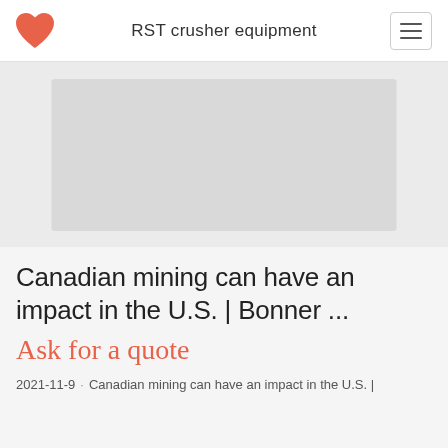RST crusher equipment
[Figure (photo): Faded/placeholder image area representing a photo related to Canadian mining]
Canadian mining can have an impact in the U.S. | Bonner ...
Ask for a quote
2021-11-9 · Canadian mining can have an impact in the U.S. |